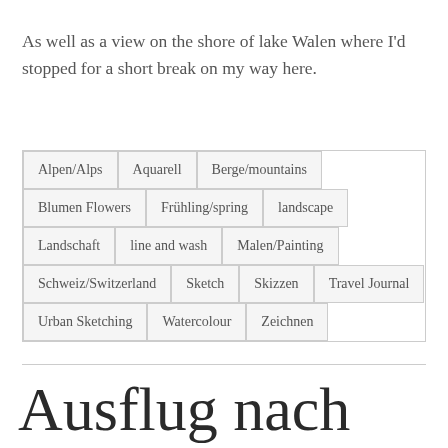As well as a view on the shore of lake Walen where I'd stopped for a short break on my way here.
Alpen/Alps
Aquarell
Berge/mountains
Blumen Flowers
Frühling/spring
landscape
Landschaft
line and wash
Malen/Painting
Schweiz/Switzerland
Sketch
Skizzen
Travel Journal
Urban Sketching
Watercolour
Zeichnen
Ausflug nach Bad